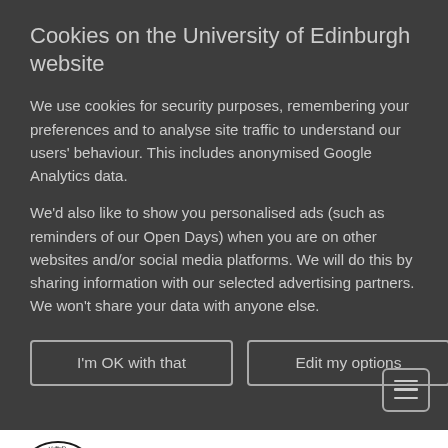Cookies on the University of Edinburgh website
We use cookies for security purposes, remembering your preferences and to analyse site traffic to understand our users' behaviour. This includes anonymised Google Analytics data.
We'd also like to show you personalised ads (such as reminders of our Open Days) when you are on other websites and/or social media platforms. We will do this by sharing information with our selected advertising partners. We won't share your data with anyone else.
I'm OK with that | Edit my options
[Figure (logo): University of Edinburgh crest/seal logo — circular seal with cross pattern and open book in center]
THE UNIVERSITY of EDINBURGH